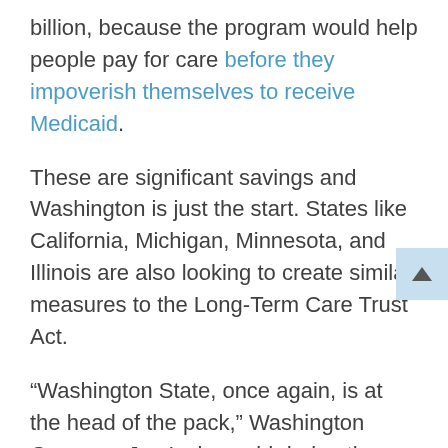billion, because the program would help people pay for care before they impoverish themselves to receive Medicaid.
These are significant savings and Washington is just the start. States like California, Michigan, Minnesota, and Illinois are also looking to create similar measures to the Long-Term Care Trust Act.
“Washington State, once again, is at the head of the pack,” Washington Governor Jay Inslee said during the signing of the Long-Term Care Trust Act, “when it comes to policies that help working families and provide much-needed security when it comes to their healthcare.”
...